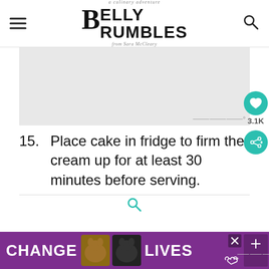a culinary adventure BELLY RUMBLES from Sara McCleary
[Figure (other): Advertisement placeholder gray box with Mediavine logo watermark]
15. Place cake in fridge to firm the cream up for at least 30 minutes before serving.
[Figure (other): CHANGE LIVES advertisement banner with cat images on purple background]